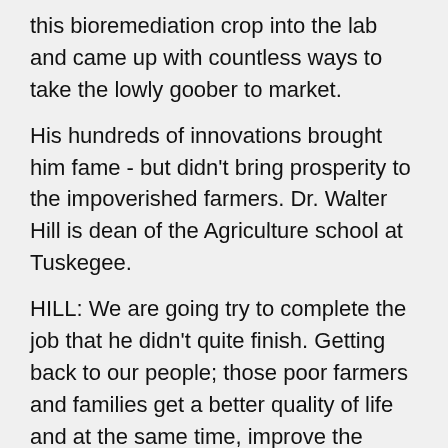this bioremediation crop into the lab and came up with countless ways to take the lowly goober to market.
His hundreds of innovations brought him fame - but didn't bring prosperity to the impoverished farmers. Dr. Walter Hill is dean of the Agriculture school at Tuskegee.
HILL: We are going try to complete the job that he didn't quite finish. Getting back to our people; those poor farmers and families get a better quality of life and at the same time, improve the environment.
SRISKANDARAJAH: Dean Hill took me to the fields to show me what they're doing. But before that, I went in search of Carver with Dana Chandler, Tuskegee Institute's archivist.
CHANDLER:Archivist - yeah - whatever that means (Laughs) I want to take you in here, we'll start in here,